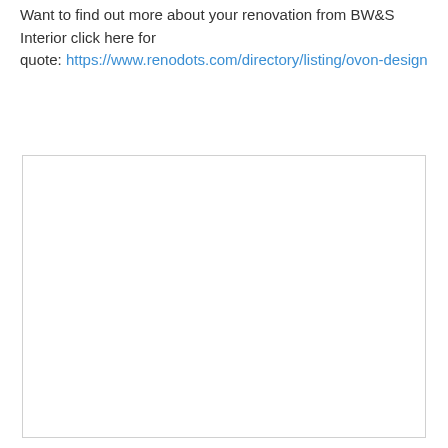Want to find out more about your renovation from BW&S Interior click here for quote: https://www.renodots.com/directory/listing/ovon-design
[Figure (other): A large empty white box with a light gray border, likely a placeholder for an image.]